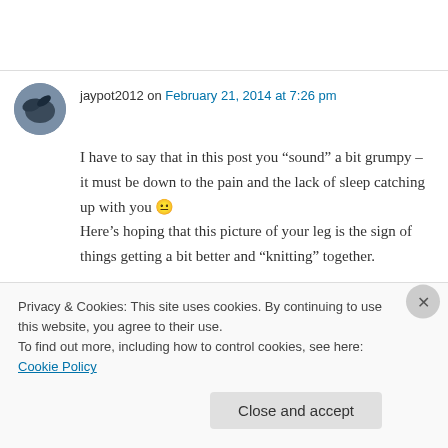jaypot2012 on February 21, 2014 at 7:26 pm
I have to say that in this post you “sound” a bit grumpy – it must be down to the pain and the lack of sleep catching up with you 😐 Here’s hoping that this picture of your leg is the sign of things getting a bit better and “knitting” together.
Privacy & Cookies: This site uses cookies. By continuing to use this website, you agree to their use.
To find out more, including how to control cookies, see here: Cookie Policy
Close and accept